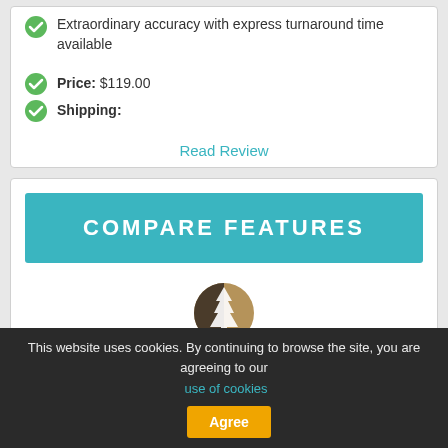Extraordinary accuracy with express turnaround time available
Price: $119.00
Shipping:
Read Review
COMPARE FEATURES
[Figure (logo): IGENEA logo — tree silhouette with brown/beige circular background and text IGENEA below]
This website uses cookies. By continuing to browse the site, you are agreeing to our use of cookies Agree